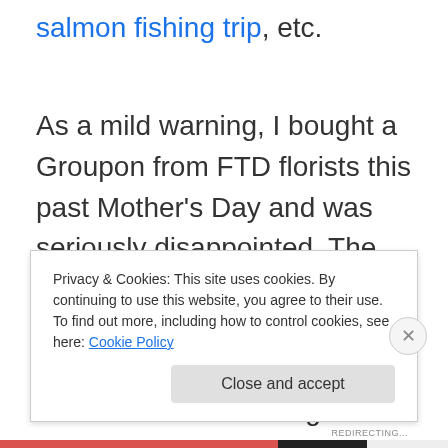salmon fishing trip, etc.
As a mild warning, I bought a Groupon from FTD florists this past Mother's Day and was seriously disappointed. The flowers never showed up. So I tweeted about the issue, and within 24 hours I was refunded in full and a great bouquet arrived for my mother. Good customer service from FTD and Groupon to make this right.
Privacy & Cookies: This site uses cookies. By continuing to use this website, you agree to their use. To find out more, including how to control cookies, see here: Cookie Policy
Close and accept